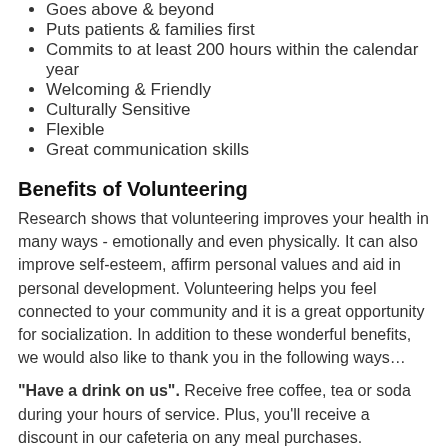Goes above & beyond
Puts patients & families first
Commits to at least 200 hours within the calendar year
Welcoming & Friendly
Culturally Sensitive
Flexible
Great communication skills
Benefits of Volunteering
Research shows that volunteering improves your health in many ways - emotionally and even physically. It can also improve self-esteem, affirm personal values and aid in personal development. Volunteering helps you feel connected to your community and it is a great opportunity for socialization. In addition to these wonderful benefits, we would also like to thank you in the following ways…
"Have a drink on us". Receive free coffee, tea or soda during your hours of service. Plus, you'll receive a discount in our cafeteria on any meal purchases.
Shop 'til you drop. Volunteers receive a discount to gift…